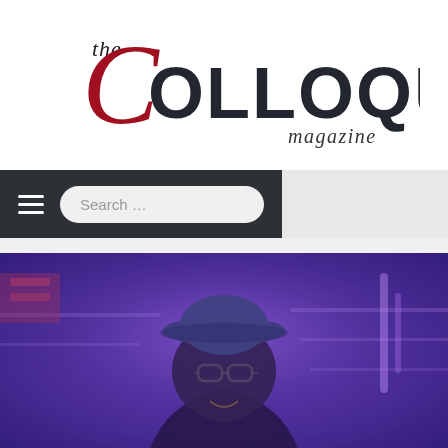[Figure (logo): The Colloquial Magazine logo — 'the' in small italic script, large bold dark text 'COLLOQUIAL' with a large red stylized 'C', and 'magazine' in italic script at the bottom right]
[Figure (screenshot): Website navigation bar: dark background with hamburger menu icon and a search box with placeholder text 'Search ...']
[Figure (photo): Photo of a person wearing a bucket hat and glasses, bathed in purple/blue neon light, in what appears to be a music studio or similar venue]